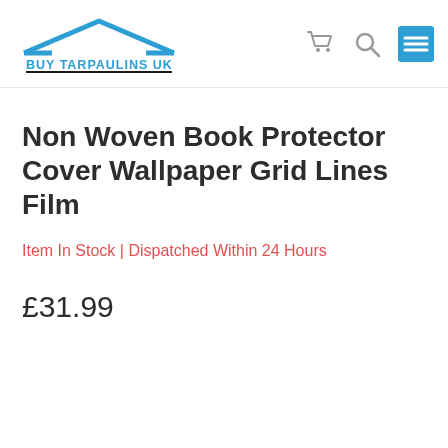BUY TARPAULINS UK
Non Woven Book Protector Cover Wallpaper Grid Lines Film
Item In Stock | Dispatched Within 24 Hours
£31.99